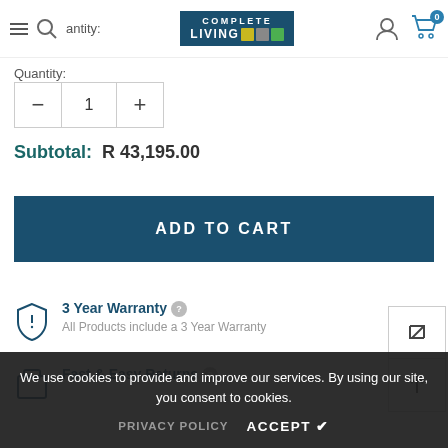Quantity: | COMPLETE LIVING logo
Quantity:
- 1 +
Subtotal: R 43,195.00
ADD TO CART
3 Year Warranty ? All Products include a 3 Year Warranty
Fast & Easy Returns ? 7 Day Returns Learn More
Customise Colours and Fabrics Available on request
Pickup Available at Warehouse
We use cookies to provide and improve our services. By using our site, you consent to cookies.
PRIVACY POLICY   ACCEPT ✔